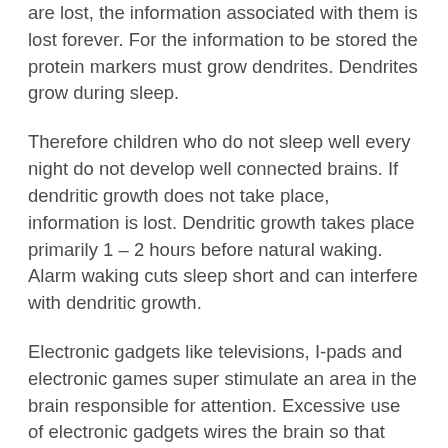are lost, the information associated with them is lost forever. For the information to be stored the protein markers must grow dendrites. Dendrites grow during sleep.
Therefore children who do not sleep well every night do not develop well connected brains. If dendritic growth does not take place, information is lost. Dendritic growth takes place primarily 1 – 2 hours before natural waking. Alarm waking cuts sleep short and can interfere with dendritic growth.
Electronic gadgets like televisions, I-pads and electronic games super stimulate an area in the brain responsible for attention. Excessive use of electronic gadgets wires the brain so that “normal attention” becomes difficult for the child. It is recommended that children under the age of 2 years should not be exposed to electronic gadgetry.